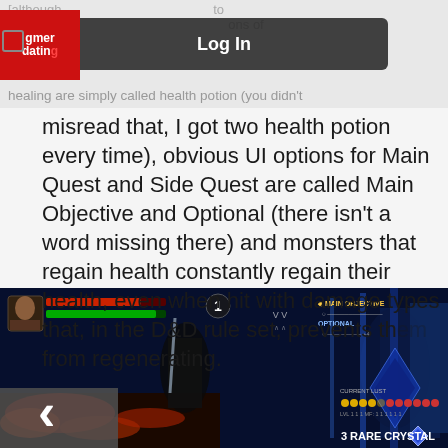[Figure (screenshot): Website header with 'Log In' modal overlay and a gaming/dating site logo in red on left side. Partial faded text visible behind overlay.]
misread that, I got two health potion every time), obvious UI options for Main Quest and Side Quest are called Main Objective and Optional (there isn't a word missing there) and monsters that regain health constantly regain their health, even when hit with damage types that, in the D&D rule set, prevents them from regenerating.
[Figure (screenshot): Video game screenshot showing a dark blue-toned combat scene. Character visible on left side with health/stat bars in top-left corner. HUD shows 'MAIN OBJECTIVE' and 'OPTIONAL' quest markers on top-right. Bottom right shows '3 RARE CRYSTAL' pickup notification with a gem icon. Red lava-like ground visible in lower left.]